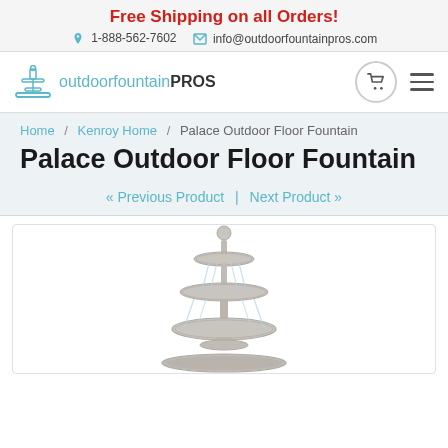Free Shipping on all Orders!
1-888-562-7602   info@outdoorfountainpros.com
[Figure (logo): Outdoor Fountain Pros logo with fountain icon and text 'outdoorFountainPROS']
Home / Kenroy Home / Palace Outdoor Floor Fountain
Palace Outdoor Floor Fountain
« Previous Product  |  Next Product »
[Figure (photo): Palace Outdoor Floor Fountain product image showing a multi-tiered stone fountain with ball finial on top]